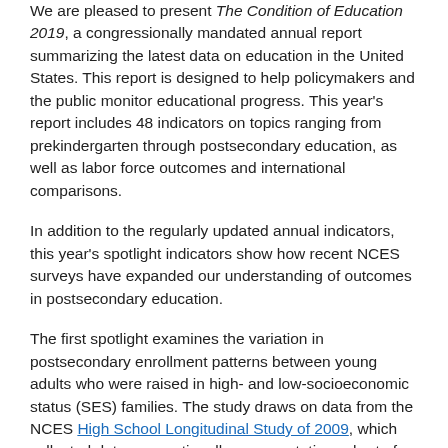We are pleased to present The Condition of Education 2019, a congressionally mandated annual report summarizing the latest data on education in the United States. This report is designed to help policymakers and the public monitor educational progress. This year's report includes 48 indicators on topics ranging from prekindergarten through postsecondary education, as well as labor force outcomes and international comparisons.
In addition to the regularly updated annual indicators, this year's spotlight indicators show how recent NCES surveys have expanded our understanding of outcomes in postsecondary education.
The first spotlight examines the variation in postsecondary enrollment patterns between young adults who were raised in high- and low-socioeconomic status (SES) families. The study draws on data from the NCES High School Longitudinal Study of 2009, which collected data on a nationally representative cohort of ninth-grade students in 2009 and has continued to survey those